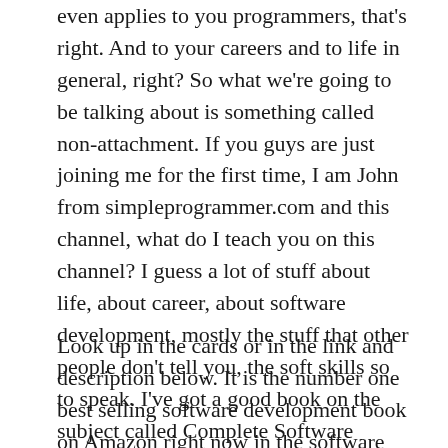even applies to you programmers, that's right. And to your careers and to life in general, right? So what we're going to be talking about is something called non-attachment. If you guys are just joining me for the first time, I am John from simpleprogrammer.com and this channel, what do I teach you on this channel? I guess a lot of stuff about life, about career, about software development, mostly the stuff that other people don't tell you, the soft skills so to speak. I've got a good book on the subject called Complete Software Developer Career Guide.
Look up in the cards or in the link and description below. It is the number one best selling software development book on Amazon right now in the software online category for Kindle Books so go check that out. I've got an audio version as well. All right, what are we talking about today? We're